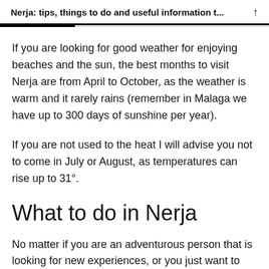Nerja: tips, things to do and useful information t...
If you are looking for good weather for enjoying beaches and the sun, the best months to visit Nerja are from April to October, as the weather is warm and it rarely rains (remember in Malaga we have up to 300 days of sunshine per year).
If you are not used to the heat I will advise you not to come in July or August, as temperatures can rise up to 31°.
What to do in Nerja
No matter if you are an adventurous person that is looking for new experiences, or you just want to